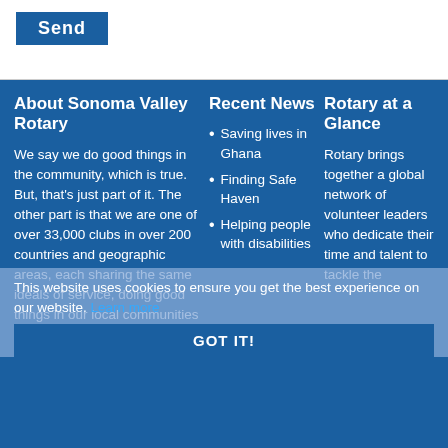Send
About Sonoma Valley Rotary
We say we do good things in the community, which is true. But, that's just part of it. The other part is that we are one of over 33,000 clubs in over 200 countries and geographic areas, each sharing the same ideals of service, doing good things in our local communities and working
Recent News
Saving lives in Ghana
Finding Safe Haven
Helping people with disabilities
Rotary at a Glance
Rotary brings together a global network of volunteer leaders who dedicate their time and talent to tackle the
This website uses cookies to ensure you get the best experience on our website. Learn more
GOT IT!